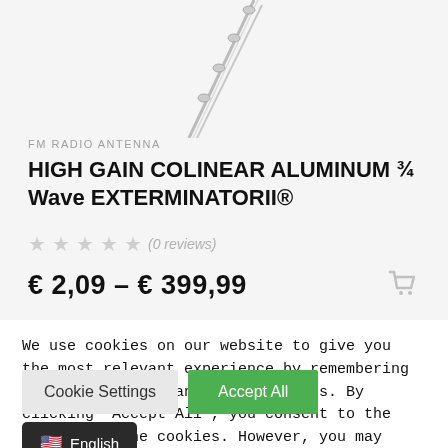[Figure (photo): Aluminum antenna product image on light gray background, antenna shown diagonally from upper center]
FM RADIO ANTENNA
HIGH GAIN COLINEAR ALUMINUM ¾ Wave EXTERMINATORII®
(0 reviews)
€ 2,09 – € 399,99
We use cookies on our website to give you the most relevant experience by remembering your preferences and repeat visits. By clicking "Accept All", you consent to the use of ALL the cookies. However, you may visit "Cookie Settings" to provide a controlled consent.
Cookie Settings
Accept All
English